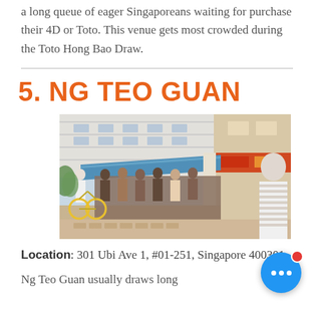a long queue of eager Singaporeans waiting for purchase their 4D or Toto. This venue gets most crowded during the Toto Hong Bao Draw.
5. NG TEO GUAN
[Figure (photo): Exterior photo of Ng Teo Guan lottery outlet showing a long queue of people outside a shopfront with a blue awning, a person on a bicycle in the foreground, and a man in a striped shirt on the right.]
Location: 301 Ubi Ave 1, #01-251, Singapore 400301
Ng Teo Guan usually draws long